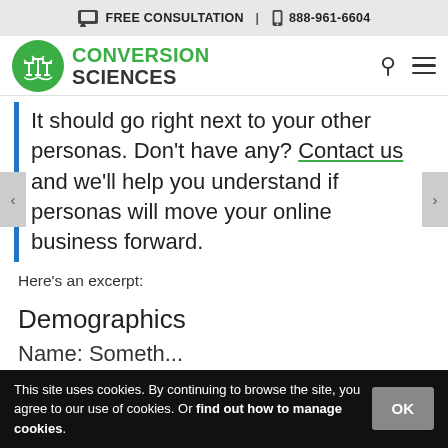FREE CONSULTATION | 888-961-6604
[Figure (logo): Conversion Sciences logo with green circle and antenna icon]
It should go right next to your other personas. Don’t have any? Contact us and we’ll help you understand if personas will move your online business forward.
Here’s an excerpt:
Demographics
Name: Somethine...
This site uses cookies. By continuing to browse the site, you agree to our use of cookies. Or find out how to manage cookies.